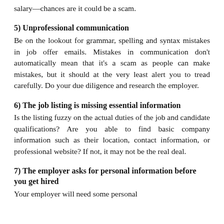salary—chances are it could be a scam.
5) Unprofessional communication
Be on the lookout for grammar, spelling and syntax mistakes in job offer emails. Mistakes in communication don't automatically mean that it's a scam as people can make mistakes, but it should at the very least alert you to tread carefully. Do your due diligence and research the employer.
6) The job listing is missing essential information
Is the listing fuzzy on the actual duties of the job and candidate qualifications? Are you able to find basic company information such as their location, contact information, or professional website? If not, it may not be the real deal.
7) The employer asks for personal information before you get hired
Your employer will need some personal